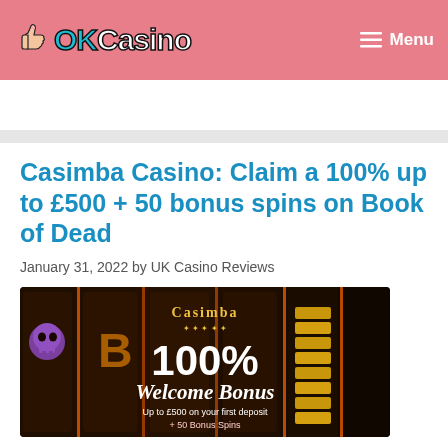OKCasino — Menu
Casimba Casino: Claim a 100% up to £500 + 50 bonus spins on Book of Dead
January 31, 2022 by UK Casino Reviews
[Figure (photo): Casimba Casino promotional banner showing slot machine reels in the background with text: Casimba, 100% Welcome Bonus, Up to £500 on your first deposit + 50 Bonus Spins]